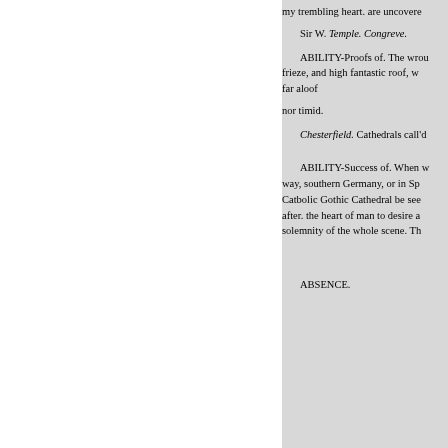my trembling heart. are uncovere
Sir W. Temple. Congreve.
ABILITY-Proofs of. The wrou frieze, and high fantastic roof, w far aloof
nor timid.
Chesterfield. Cathedrals call'd
ABILITY-Success of. When w way, southern Germany, or in Sp Catbolic Gothic Cathedral be see after. the heart of man to desire a solemnity of the whole scene. Th
ABSENCE.